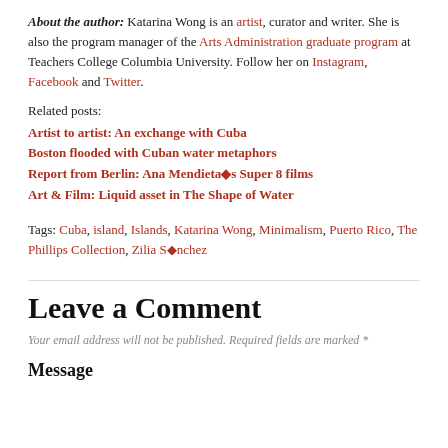About the author: Katarina Wong is an artist, curator and writer. She is also the program manager of the Arts Administration graduate program at Teachers College Columbia University. Follow her on Instagram, Facebook and Twitter.
Related posts:
Artist to artist: An exchange with Cuba
Boston flooded with Cuban water metaphors
Report from Berlin: Ana Mendieta's Super 8 films
Art & Film: Liquid asset in The Shape of Water
Tags: Cuba, island, Islands, Katarina Wong, Minimalism, Puerto Rico, The Phillips Collection, Zilia Sánchez
Leave a Comment
Your email address will not be published. Required fields are marked *
Message